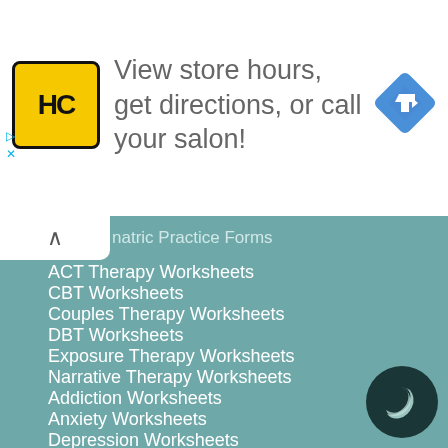[Figure (other): Advertisement banner: HC logo (yellow square with black HC text), text 'View store hours, get directions, or call your salon!', blue diamond navigation icon]
natric Practice Forms
ACT Therapy Worksheets
CBT Worksheets
Couples Therapy Worksheets
DBT Worksheets
Exposure Therapy Worksheets
Narrative Therapy Worksheets
Addiction Worksheets
Anxiety Worksheets
Depression Worksheets
Eating Disorder Worksheets
Self-Esteem Worksheets